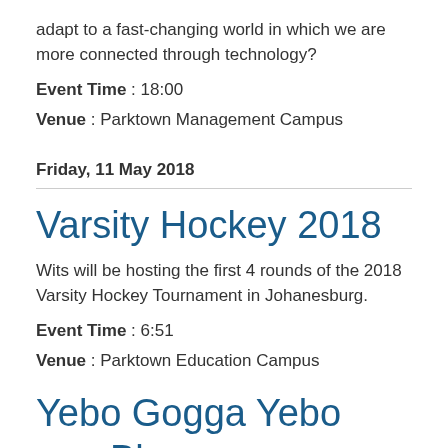adapt to a fast-changing world in which we are more connected through technology?
Event Time : 18:00
Venue : Parktown Management Campus
Friday, 11 May 2018
Varsity Hockey 2018
Wits will be hosting the first 4 rounds of the 2018 Varsity Hockey Tournament in Johanesburg.
Event Time : 6:51
Venue : Parktown Education Campus
Yebo Gogga Yebo amaBlomo